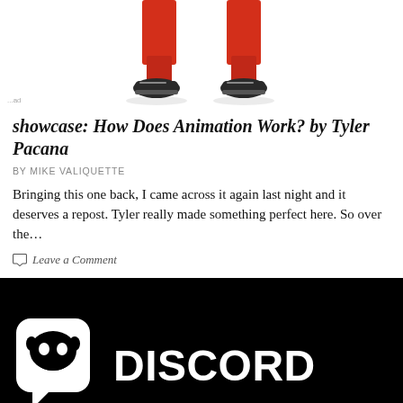[Figure (illustration): Cropped image showing legs of a 3D animated character in red pants and dark sneakers against a white background]
showcase: How Does Animation Work? by Tyler Pacana
BY MIKE VALIQUETTE
Bringing this one back, I came across it again last night and it deserves a repost. Tyler really made something perfect here. So over the…
Leave a Comment
[Figure (logo): Discord logo on black background — white rounded square icon with Discord mascot face and speech bubble tail, next to white bold text reading DISCORD]